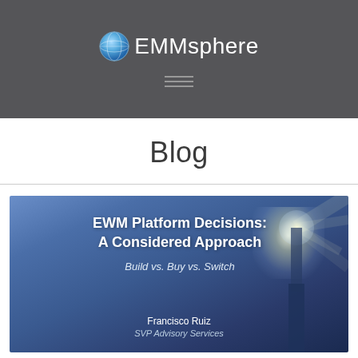EMMsphere
Blog
[Figure (other): EWM Platform Decisions: A Considered Approach presentation cover slide with blue gradient background featuring a lighthouse silhouette with bright glow, subtitle 'Build vs. Buy vs. Switch', author Francisco Ruiz, SVP Advisory Services]